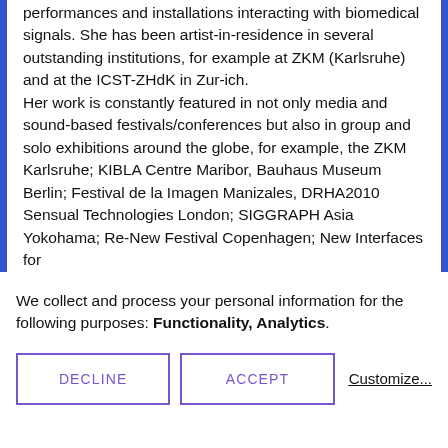performances and installations interacting with biomedical signals. She has been artist-in-residence in several outstanding institutions, for example at ZKM (Karlsruhe) and at the ICST-ZHdK in Zur-ich.
Her work is constantly featured in not only media and sound-based festivals/conferences but also in group and solo exhibitions around the globe, for example, the ZKM Karlsruhe; KIBLA Centre Maribor, Bauhaus Museum Berlin; Festival de la Imagen Manizales, DRHA2010 Sensual Technologies London; SIGGRAPH Asia Yokohama; Re-New Festival Copenhagen; New Interfaces for
We collect and process your personal information for the following purposes: Functionality, Analytics.
DECLINE
ACCEPT
Customize...